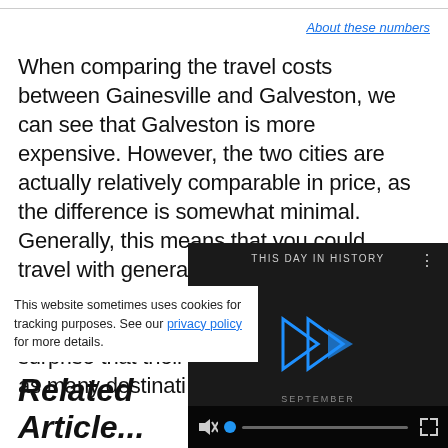About these numbers
When comparing the travel costs between Gainesville and Galveston, we can see that Galveston is more expensive. However, the two cities are actually relatively comparable in price, as the difference is somewhat minimal. Generally, this means that you could travel with generally the same travel style and level of luxury in each place. Since both cities are in North America, it's no surprise that their... as many destinati...
This website sometimes uses cookies for tracking purposes. See our privacy policy for more details.
[Figure (screenshot): Embedded video player with dark background showing 'THIS DAY IN HISTORY' label, a play button icon, SEPTEMBER label, and a progress bar with mute and fullscreen controls at the bottom.]
Related Article...